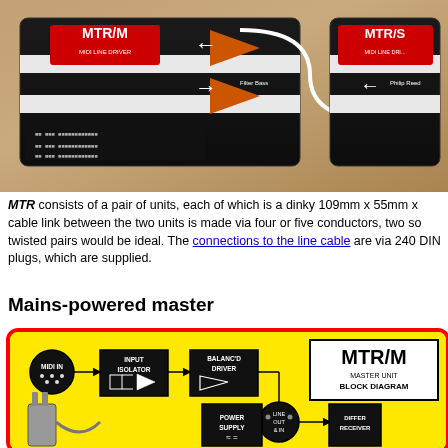[Figure (photo): Photo of two MTR/M MIDI Line Driver units with black enclosures featuring orange arrows and white cable routing graphics, placed on a marble/stone surface.]
MTR consists of a pair of units, each of which is a dinky 109mm x 55mm x... cable link between the two units is made via four or five conductors, two so... twisted pairs would be ideal. The connections to the line cable are via 240... DIN plugs, which are supplied.
Mains-powered master
[Figure (engineering-diagram): MTR/M Master Unit Block Diagram on yellow background with red border. Shows signal flow from MIDI IN through Input Isolator, Balanced Driver, to LINE OUT & IN connector, then through Differ Receiver and MIDI Driver to MIDI OUT. Also shows Power Supply connected from mains plug.]